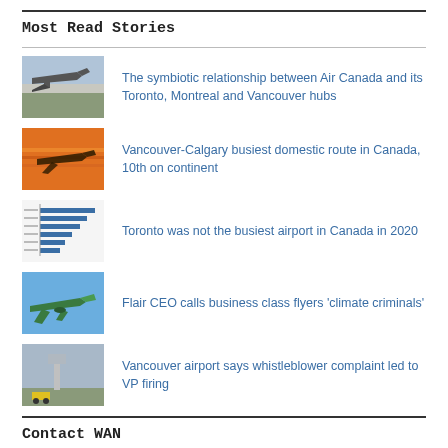Most Read Stories
The symbiotic relationship between Air Canada and its Toronto, Montreal and Vancouver hubs
Vancouver-Calgary busiest domestic route in Canada, 10th on continent
Toronto was not the busiest airport in Canada in 2020
Flair CEO calls business class flyers 'climate criminals'
Vancouver airport says whistleblower complaint led to VP firing
Contact WAN
Vancouver, British Columbia
778-512-2126
publisher@westernaviationnews.com